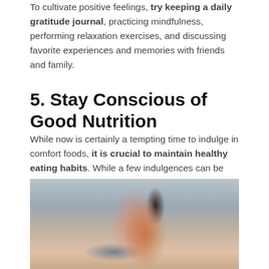To cultivate positive feelings, try keeping a daily gratitude journal, practicing mindfulness, performing relaxation exercises, and discussing favorite experiences and memories with friends and family.
5. Stay Conscious of Good Nutrition
While now is certainly a tempting time to indulge in comfort foods, it is crucial to maintain healthy eating habits. While a few indulgences can be part of a healthy, balanced diet, it is important to include adequate fruits, vegetables, whole grains, and high-quality protein in your daily eating plan.
[Figure (photo): A smiling woman in a pink jacket pouring a pink smoothie from a blender in a kitchen setting.]